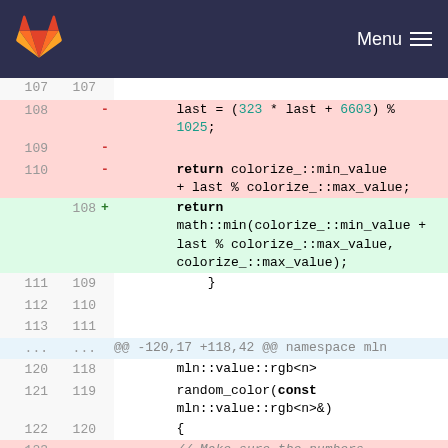[Figure (screenshot): GitLab logo and navigation header with dark navy background, Menu text and hamburger icon on the right]
| old_ln | new_ln | sign | code |
| --- | --- | --- | --- |
| 107 | 107 |  |  |
| 108 |  | -  | last = (323 * last + 6603) % 1025; |
| 109 |  | -  |  |
| 110 |  | -  | return colorize_::min_value + last % colorize_::max_value; |
|  | 108 | +  | return math::min(colorize_::min_value + last % colorize_::max_value, colorize_::max_value); |
| 111 | 109 |   |     } |
| 112 | 110 |   |  |
| 113 | 111 |   |  |
| ... | ... |  | @@ -120,17 +118,42 @@ namespace mln |
| 120 | 118 |   |     mln::value::rgb<n> |
| 121 | 119 |   |     random_color(const mln::value::rgb<n>&) |
| 122 | 120 |   |     { |
| 123 |  | -  | // Make sure the numbers are generated in the same order |
| 124 |  | -  | // whatever the compiler |